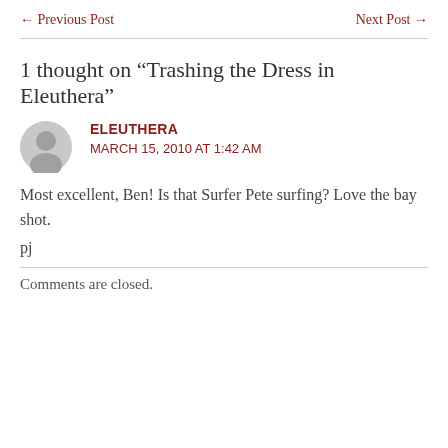← Previous Post    Next Post →
1 thought on “Trashing the Dress in Eleuthera”
ELEUTHERA
MARCH 15, 2010 AT 1:42 AM
Most excellent, Ben! Is that Surfer Pete surfing? Love the bay shot.
pj
Comments are closed.